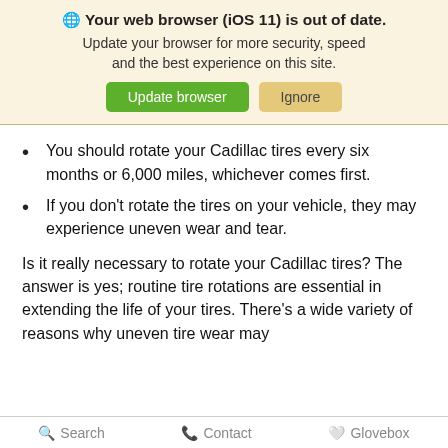[Figure (screenshot): Browser update warning banner with globe icon, bold title 'Your web browser (iOS 11) is out of date.', subtitle text, and two buttons: green 'Update browser' and tan 'Ignore']
You should rotate your Cadillac tires every six months or 6,000 miles, whichever comes first.
If you don't rotate the tires on your vehicle, they may experience uneven wear and tear.
Is it really necessary to rotate your Cadillac tires? The answer is yes; routine tire rotations are essential in extending the life of your tires. There's a wide variety of reasons why uneven tire wear may
Search   Contact   Glovebox